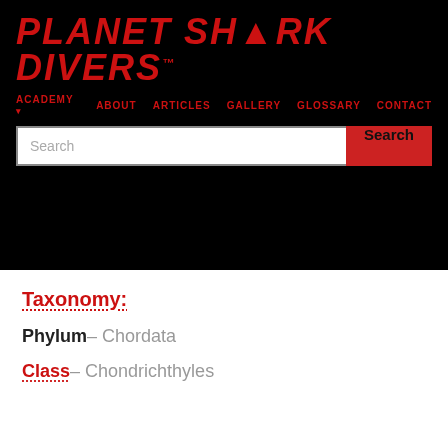PLANET SHARK DIVERS
ACADEMY 1  ABOUT  ARTICLES  GALLERY  GLOSSARY  CONTACT
Taxonomy:
Phylum – Chordata
Class – Chondrichthyles